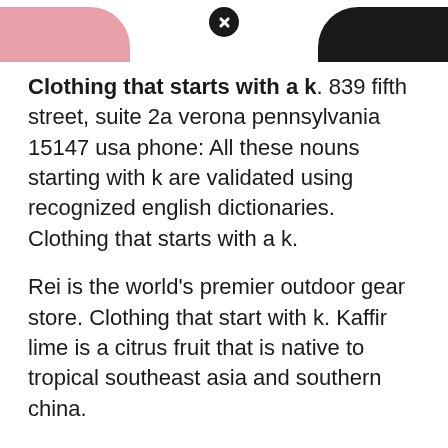[Figure (photo): Top portion shows partial images: pink/mauve colored item on left, dark black item on right, with a close (X) button in the center on a white background strip]
Clothing that starts with a k. 839 fifth street, suite 2a verona pennsylvania 15147 usa phone: All these nouns starting with k are validated using recognized english dictionaries. Clothing that starts with a k.
Rei is the world's premier outdoor gear store. Clothing that start with k. Kaffir lime is a citrus fruit that is native to tropical southeast asia and southern china.
Are their more clothing categories that start with the letter k? Browse our scrabble word finder, words with friends cheat dictionary, and wordhub word solver to find words starting with k. There was